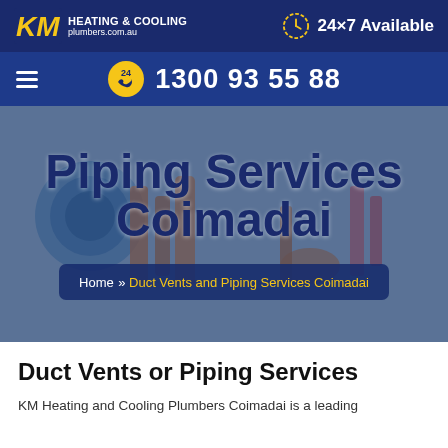KM HEATING & COOLING plumbers.com.au | 24×7 Available
1300 93 55 88
[Figure (photo): Background photo of plumbing pipes and fittings with gauges, overlaid with blue tint]
Piping Services Coimadai
Home » Duct Vents and Piping Services Coimadai
Duct Vents or Piping Services
KM Heating and Cooling Plumbers Coimadai is a leading